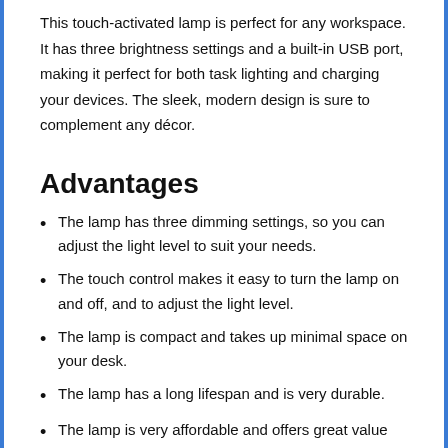This touch-activated lamp is perfect for any workspace. It has three brightness settings and a built-in USB port, making it perfect for both task lighting and charging your devices. The sleek, modern design is sure to complement any décor.
Advantages
The lamp has three dimming settings, so you can adjust the light level to suit your needs.
The touch control makes it easy to turn the lamp on and off, and to adjust the light level.
The lamp is compact and takes up minimal space on your desk.
The lamp has a long lifespan and is very durable.
The lamp is very affordable and offers great value for money.